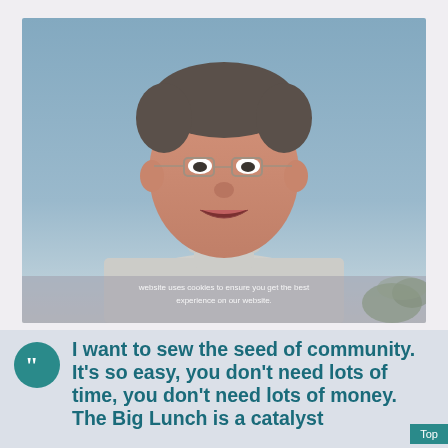[Figure (photo): A middle-aged man with short grey hair, wearing glasses and a light grey turtleneck sweater, smiling, photographed against a light blue wall background with a hint of palm trees in the lower right corner. A cookie consent notice overlay appears at the bottom of the photo.]
I want to sew the seed of community. It's so easy, you don't need lots of time, you don't need lots of money. The Big Lunch is a catalyst